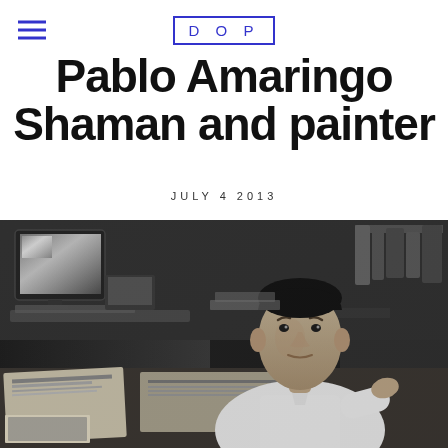DOP
Pablo Amaringo
Shaman and painter
JULY 4 2013
[Figure (photo): Black and white photograph of Pablo Amaringo seated at a desk cluttered with papers, books, and photographs, with a computer monitor visible in the background. He is wearing a white shirt and looking directly at the camera.]